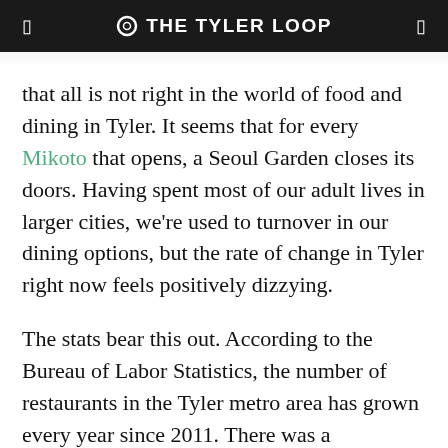THE TYLER LOOP
that all is not right in the world of food and dining in Tyler. It seems that for every Mikoto that opens, a Seoul Garden closes its doors. Having spent most of our adult lives in larger cities, we're used to turnover in our dining options, but the rate of change in Tyler right now feels positively dizzying.
The stats bear this out. According to the Bureau of Labor Statistics, the number of restaurants in the Tyler metro area has grown every year since 2011. There was a particularly large spike in 2016, when nearly 30 new restaurants opened in one year. Sure, Tyler is also growing, but it's important to note that restaurant openings have rapidly outpaced population